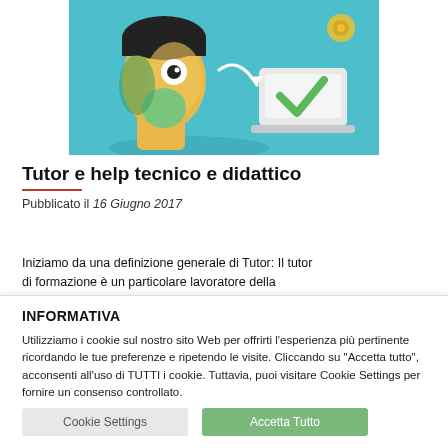[Figure (illustration): Flat design illustration of a person's head profile with an eye visible, green and dark hair/shadow, alongside a laptop with a green checkmark on screen, on a teal/blue background with gear and arrow icon elements.]
Tutor e help tecnico e didattico
Pubblicato il 16 Giugno 2017
Iniziamo da una definizione generale di Tutor: Il tutor di formazione è un particolare lavoratore della
INFORMATIVA
Utilizziamo i cookie sul nostro sito Web per offrirti l'esperienza più pertinente ricordando le tue preferenze e ripetendo le visite. Cliccando su "Accetta tutto", acconsenti all'uso di TUTTI i cookie. Tuttavia, puoi visitare Cookie Settings per fornire un consenso controllato.
Cookie Settings | Accetta Tutto